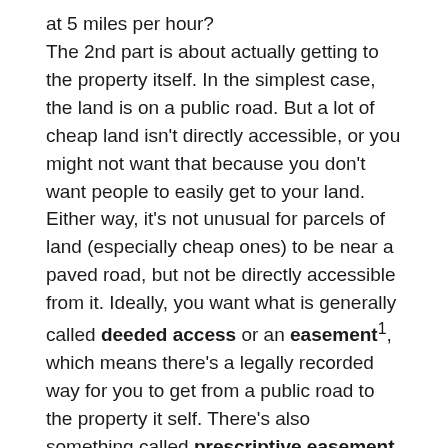at 5 miles per hour? The 2nd part is about actually getting to the property itself. In the simplest case, the land is on a public road. But a lot of cheap land isn't directly accessible, or you might not want that because you don't want people to easily get to your land. Either way, it's not unusual for parcels of land (especially cheap ones) to be near a paved road, but not be directly accessible from it. Ideally, you want what is generally called deeded access or an easement^1, which means there's a legally recorded way for you to get from a public road to the property it self. There's also something called prescriptive easement, which is a right to use someone else's land a certain way if you've been doing so publicly for a certain number of years^2. In the context of access to land, prescriptive easements